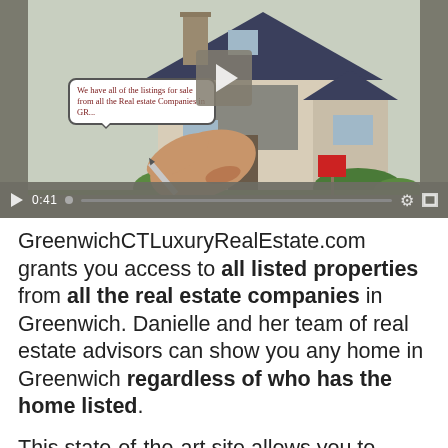[Figure (screenshot): A video player screenshot showing an illustrated house with a hand writing a speech bubble that reads 'We have all of the listings for sale from all the Real Estate Companies in GR...' with a play button overlay and video controls bar showing 0:41 timestamp.]
GreenwichCTLuxuryRealEstate.com grants you access to all listed properties from all the real estate companies in Greenwich. Danielle and her team of real estate advisors can show you any home in Greenwich regardless of who has the home listed.
This state-of-the-art site allows you to